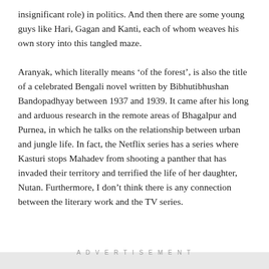insignificant role) in politics. And then there are some young guys like Hari, Gagan and Kanti, each of whom weaves his own story into this tangled maze.
Aranyak, which literally means ‘of the forest’, is also the title of a celebrated Bengali novel written by Bibhutibhushan Bandopadhyay between 1937 and 1939. It came after his long and arduous research in the remote areas of Bhagalpur and Purnea, in which he talks on the relationship between urban and jungle life. In fact, the Netflix series has a series where Kasturi stops Mahadev from shooting a panther that has invaded their territory and terrified the life of her daughter, Nutan. Furthermore, I don’t think there is any connection between the literary work and the TV series.
ADVERTISEMENT